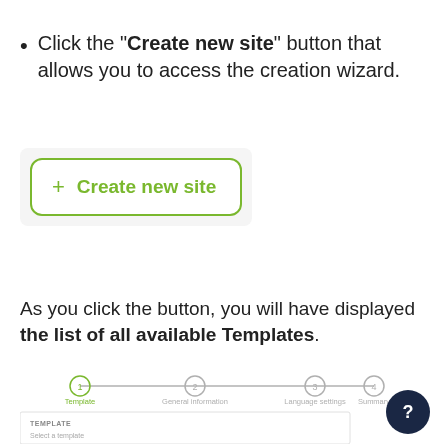Click the "Create new site" button that allows you to access the creation wizard.
[Figure (screenshot): A UI button with green border showing a plus icon and 'Create new site' label in green text on a light gray background]
As you click the button, you will have displayed the list of all available Templates.
[Figure (screenshot): A wizard step indicator showing 4 steps: Template, General information, Language settings, Summary. Below is a section titled TEMPLATE with 'Select a template' text. A dark navy blue circle with a white question mark is visible on the right.]